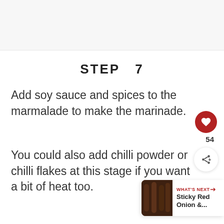STEP  7
Add soy sauce and spices to the marmalade to make the marinade.
You could also add chilli powder or chilli flakes at this stage if you want a bit of heat too.